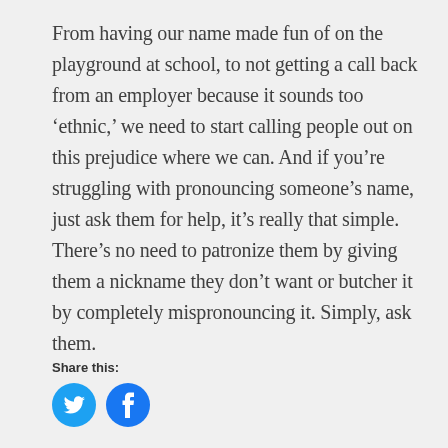From having our name made fun of on the playground at school, to not getting a call back from an employer because it sounds too ‘ethnic,’ we need to start calling people out on this prejudice where we can. And if you’re struggling with pronouncing someone’s name, just ask them for help, it’s really that simple. There’s no need to patronize them by giving them a nickname they don’t want or butcher it by completely mispronouncing it. Simply, ask them.
Share this:
[Figure (other): Two circular social media share buttons: Twitter (blue bird icon) and Facebook (blue f icon)]